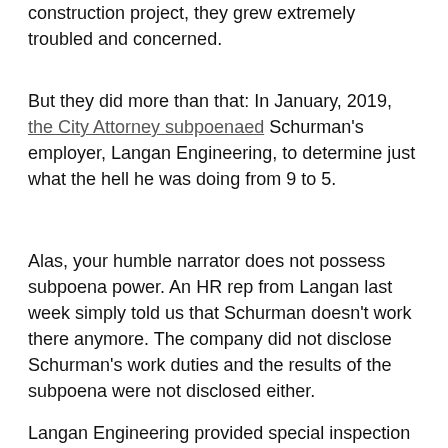construction project, they grew extremely troubled and concerned.
But they did more than that: In January, 2019, the City Attorney subpoenaed Schurman's employer, Langan Engineering, to determine just what the hell he was doing from 9 to 5.
Alas, your humble narrator does not possess subpoena power. An HR rep from Langan last week simply told us that Schurman doesn't work there anymore. The company did not disclose Schurman's work duties and the results of the subpoena were not disclosed either.
Langan Engineering provided special inspection